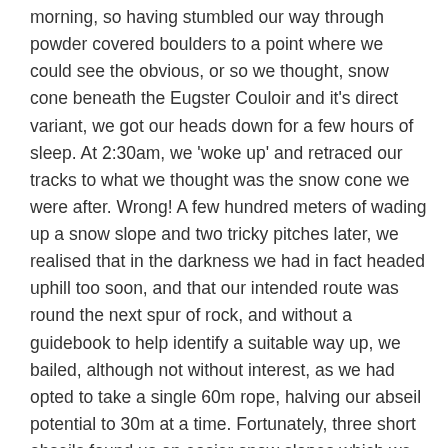morning, so having stumbled our way through powder covered boulders to a point where we could see the obvious, or so we thought, snow cone beneath the Eugster Couloir and it's direct variant, we got our heads down for a few hours of sleep. At 2:30am, we 'woke up' and retraced our tracks to what we thought was the snow cone we were after. Wrong! A few hundred meters of wading up a snow slope and two tricky pitches later, we realised that in the darkness we had in fact headed uphill too soon, and that our intended route was round the next spur of rock, and without a guidebook to help identify a suitable way up, we bailed, although not without interest, as we had opted to take a single 60m rope, halving our abseil potential to 30m at a time. Fortunately, three short abseils found us on easier snow slopes which we could descend with ease. Unfortunately, our efforts had already taken a fair few hours, meaning the only option was to head back down to Chamonix.
Three days later, we found ourselves, with 2x60m half